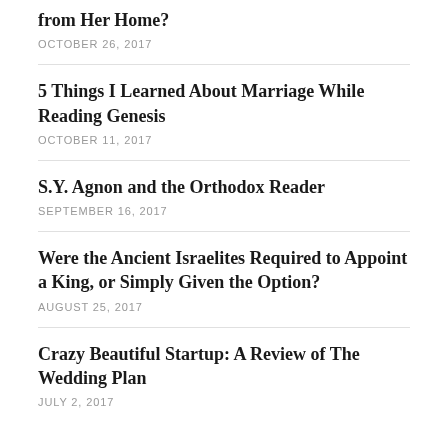from Her Home?
OCTOBER 26, 2017
5 Things I Learned About Marriage While Reading Genesis
OCTOBER 11, 2017
S.Y. Agnon and the Orthodox Reader
SEPTEMBER 16, 2017
Were the Ancient Israelites Required to Appoint a King, or Simply Given the Option?
AUGUST 25, 2017
Crazy Beautiful Startup: A Review of The Wedding Plan
JULY 2, 2017